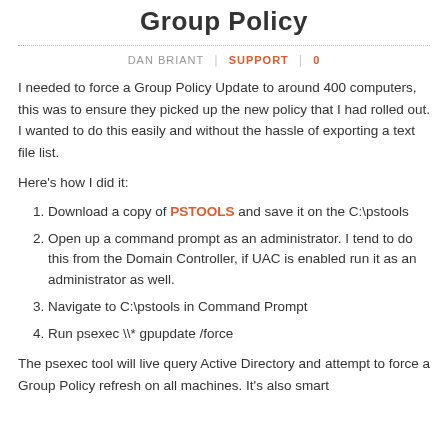Group Policy
DAN BRIANT | SUPPORT | 0
I needed to force a Group Policy Update to around 400 computers, this was to ensure they picked up the new policy that I had rolled out. I wanted to do this easily and without the hassle of exporting a text file list.
Here's how I did it:
Download a copy of PSTOOLS and save it on the C:\pstools
Open up a command prompt as an administrator. I tend to do this from the Domain Controller, if UAC is enabled run it as an administrator as well.
Navigate to C:\pstools in Command Prompt
Run psexec \\* gpupdate /force
The psexec tool will live query Active Directory and attempt to force a Group Policy refresh on all machines. It's also smart